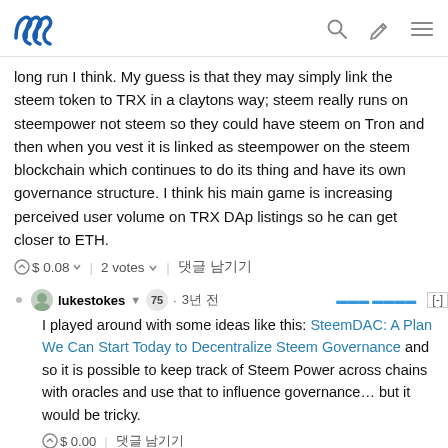Steem logo with search, edit, and menu icons
long run I think. My guess is that they may simply link the steem token to TRX in a claytons way; steem really runs on steempower not steem so they could have steem on Tron and then when you vest it is linked as steempower on the steem blockchain which continues to do its thing and have its own governance structure. I think his main game is increasing perceived user volume on TRX DAp listings so he can get closer to ETH.
$0.08 | 2 votes | 댓글 남기기
lukestokes ▼ 75 · 3년 전
I played around with some ideas like this: SteemDAC: A Plan We Can Start Today to Decentralize Steem Governance and so it is possible to keep track of Steem Power across chains with oracles and use that to influence governance… but it would be tricky.
$0.00 | 댓글 남기기
intrepidphotos ▼ 75 · 3년 전
where there is a will there is a way